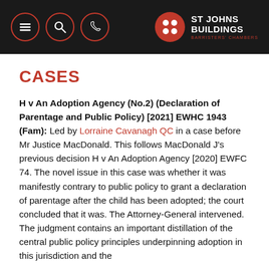ST JOHNS BUILDINGS — navigation header with menu, search, phone icons and logo
CASES
H v An Adoption Agency (No.2) (Declaration of Parentage and Public Policy) [2021] EWHC 1943 (Fam): Led by Lorraine Cavanagh QC in a case before Mr Justice MacDonald. This follows MacDonald J's previous decision H v An Adoption Agency [2020] EWFC 74. The novel issue in this case was whether it was manifestly contrary to public policy to grant a declaration of parentage after the child has been adopted; the court concluded that it was. The Attorney-General intervened. The judgment contains an important distillation of the central public policy principles underpinning adoption in this jurisdiction and the